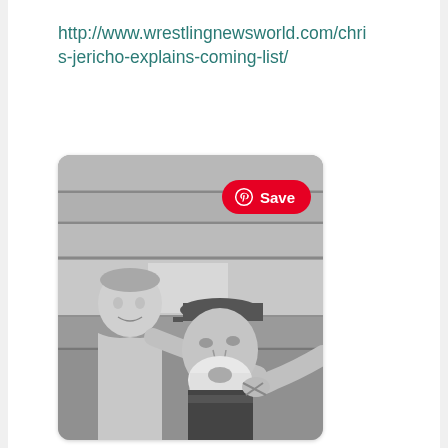http://www.wrestlingnewsworld.com/chris-jericho-explains-coming-list/
[Figure (photo): Black and white vintage photograph showing an elderly man with a cap and white beard being shaved or attended to, with a young shirtless boy visible in the background. A Pinterest 'Save' button overlay appears in the upper right of the image.]